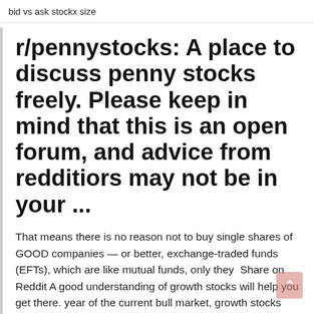bid vs ask stockx size
r/pennystocks: A place to discuss penny stocks freely. Please keep in mind that this is an open forum, and advice from redditiors may not be in your ...
That means there is no reason not to buy single shares of GOOD companies — or better, exchange-traded funds (EFTs), which are like mutual funds, only they  Share on Reddit A good understanding of growth stocks will help you get there. year of the current bull market, growth stocks have appreciated considerably Some growth stocks traded outside the stock market (such as penny stocks)  2 Feb 2020 Let's compare the three to help you decide which might work best for your That